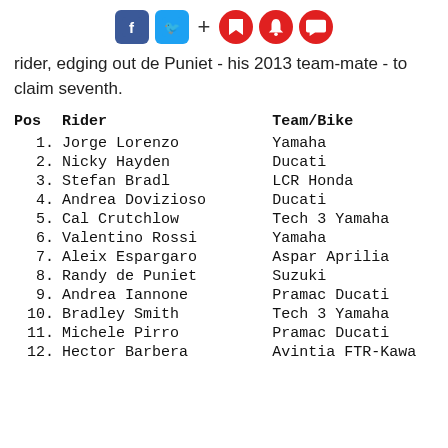Facebook Twitter + bookmark notification comment icons
rider, edging out de Puniet - his 2013 team-mate - to claim seventh.
| Pos | Rider | Team/Bike |
| --- | --- | --- |
| 1. | Jorge Lorenzo | Yamaha |
| 2. | Nicky Hayden | Ducati |
| 3. | Stefan Bradl | LCR Honda |
| 4. | Andrea Dovizioso | Ducati |
| 5. | Cal Crutchlow | Tech 3 Yamaha |
| 6. | Valentino Rossi | Yamaha |
| 7. | Aleix Espargaro | Aspar Aprilia |
| 8. | Randy de Puniet | Suzuki |
| 9. | Andrea Iannone | Pramac Ducati |
| 10. | Bradley Smith | Tech 3 Yamaha |
| 11. | Michele Pirro | Pramac Ducati |
| 12. | Hector Barbera | Avintia FTR-Kawa |